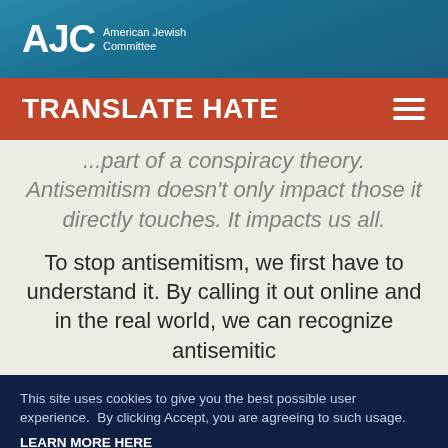[Figure (logo): AJC American Jewish Committee logo on teal/blue header bar]
TRANSLATE HATE
...part of a conspiracy theory. Antisemitism doesn't only impact those it directly touches. It impacts us all.
To stop antisemitism, we first have to understand it. By calling it out online and in the real world, we can recognize antisemitic
This site uses cookies to give you the best possible user experience.  By clicking Accept, you are agreeing to such usage.
LEARN MORE HERE
ACCEPT
No, thanks